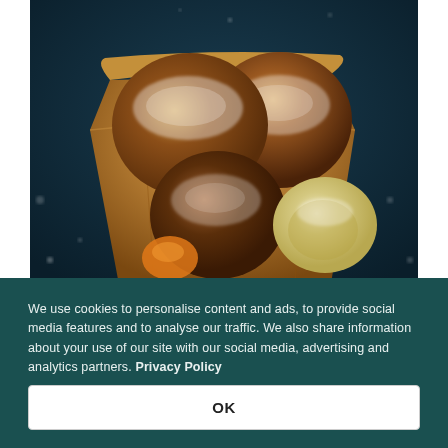[Figure (photo): Close-up photo of several round fried doughnuts dusted with powdered sugar, served in a folded brown paper bag, set against a dark teal/blue background with scattered flour dust.]
We use cookies to personalise content and ads, to provide social media features and to analyse our traffic. We also share information about your use of our site with our social media, advertising and analytics partners. Privacy Policy
OK